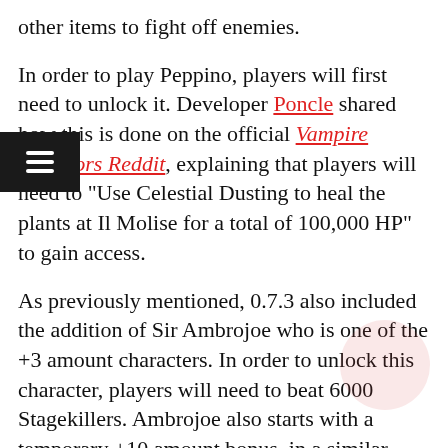other items to fight off enemies.
In order to play Peppino, players will first need to unlock it. Developer Poncle shared how this is done on the official Vampire Survivors Reddit, explaining that players will need to “Use Celestial Dusting to heal the plants at Il Molise for a total of 100,000 HP” to gain access.
As previously mentioned, 0.7.3 also included the addition of Sir Ambrojoe who is one of the +3 amount characters. In order to unlock this character, players will need to beat 6000 Stagekillers. Ambrojoe also starts with a temporary +10 amount bonus, in a similar